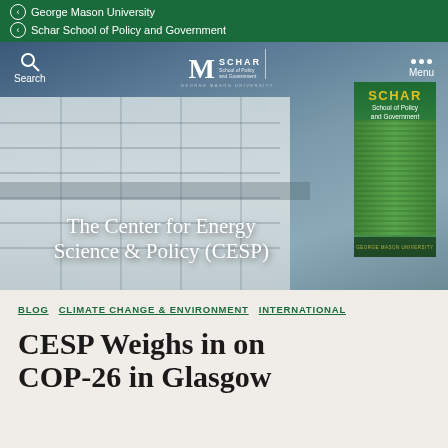George Mason University
Schar School of Policy and Government
[Figure (photo): Hero image of George Mason University Schar School of Policy and Government building exterior with green banner and navigation overlay. Shows building facade with white/grey panels, cloudy sky, and a green SCHAR banner. Navigation includes Search, Schar school logo, and Menu.]
The Center for Energy Science & Policy (CESP)
BLOG  CLIMATE CHANGE & ENVIRONMENT  INTERNATIONAL
CESP Weighs in on COP-26 in Glasgow